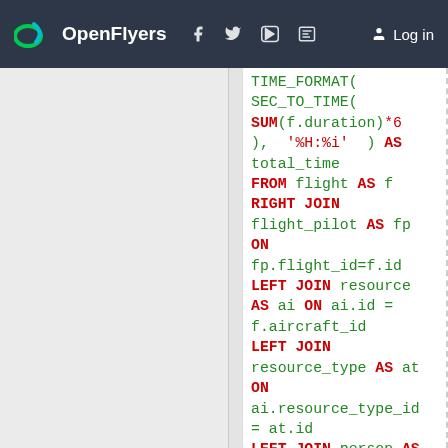OpenFlyers | Log in
TIME_FORMAT(
SEC_TO_TIME(
SUM(f.duration)*6
),  '%H:%i'  ) AS
total_time
FROM flight AS f
RIGHT JOIN
flight_pilot AS fp
ON
fp.flight_id=f.id
LEFT JOIN resource
AS ai ON ai.id =
f.aircraft_id
LEFT JOIN
resource_type AS at
ON
ai.resource_type_id
= at.id
LEFT JOIN person AS
au ON fp.pilot_id =
au.id
WHERE f.airborne =
0
    AND start_date
BETWEEN NOW()  -
INTERVAL Y DAY AND
NOW()